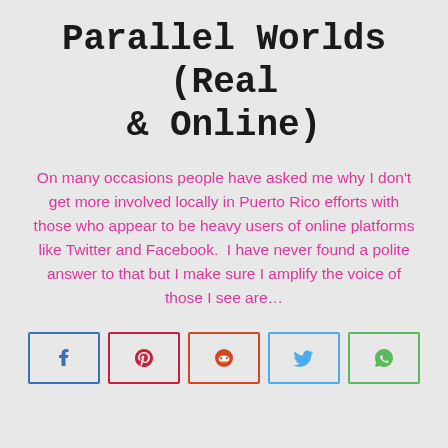Parallel Worlds (Real & Online)
On many occasions people have asked me why I don't get more involved locally in Puerto Rico efforts with those who appear to be heavy users of online platforms like Twitter and Facebook.  I have never found a polite answer to that but I make sure I amplify the voice of those I see are…
[Figure (infographic): Row of 5 social share buttons: Facebook (blue border), Pinterest (red border), Reddit (orange border), Twitter (blue border), WhatsApp (green border), each showing the platform icon]